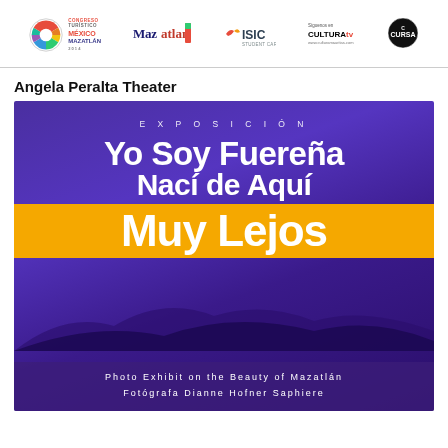Congreso Turistico Mexico Mazatlan 2014 | Mazatlan | ISIC | Síguenos en CULTURA tv www.culturamauritas.com | CURSA
Angela Peralta Theater
[Figure (illustration): Exhibition poster with purple/blue gradient background. Text reads: EXPOSICIÓN / Yo Soy Fuereña / Nací de Aquí / Muy Lejos (in orange banner) / Photo Exhibit on the Beauty of Mazatlán / Fotógrafa Dianne Hofner Saphiere]